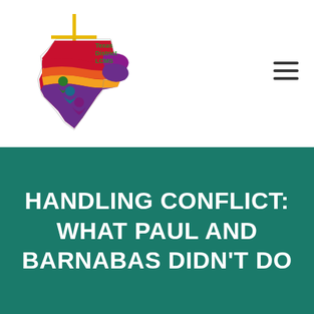[Figure (logo): Texas District LCMS logo — colorful Texas state silhouette with cross and human figures, with 'Texas District LCMS' text in green]
HANDLING CONFLICT: WHAT PAUL AND BARNABAS DIDN'T DO